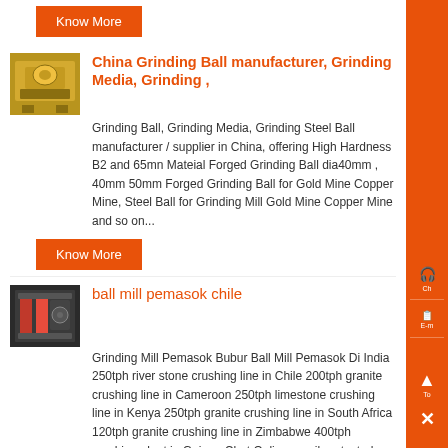Know More
[Figure (photo): Yellow industrial grinding/milling equipment]
China Grinding Ball manufacturer, Grinding Media, Grinding ,
Grinding Ball, Grinding Media, Grinding Steel Ball manufacturer / supplier in China, offering High Hardness B2 and 65mn Mateial Forged Grinding Ball dia40mm , 40mm 50mm Forged Grinding Ball for Gold Mine Copper Mine, Steel Ball for Grinding Mill Gold Mine Copper Mine and so on...
Know More
[Figure (photo): Dark industrial ball mill machine interior]
ball mill pemasok chile
Grinding Mill Pemasok Bubur Ball Mill Pemasok Di India 250tph river stone crushing line in Chile 200tph granite crushing line in Cameroon 250tph limestone crushing line in Kenya 250tph granite crushing line in South Africa 120tph granite crushing line in Zimbabwe 400tph crushing plant in Guinea Chat Online email protected Based on many years of market experiences and R D experiences, ,...
Know More